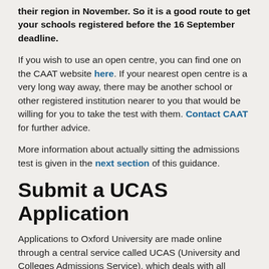their region in November. So it is a good route to get your schools registered before the 16 September deadline.
If you wish to use an open centre, you can find one on the CAAT website here. If your nearest open centre is a very long way away, there may be another school or other registered institution nearer to you that would be willing for you to take the test with them. Contact CAAT for further advice.
More information about actually sitting the admissions test is given in the next section of this guidance.
Submit a UCAS Application
Applications to Oxford University are made online through a central service called UCAS (University and Colleges Admissions Service), which deals with all applications to higher education in the UK.
The UCAS form is your most important opportunity to tell us